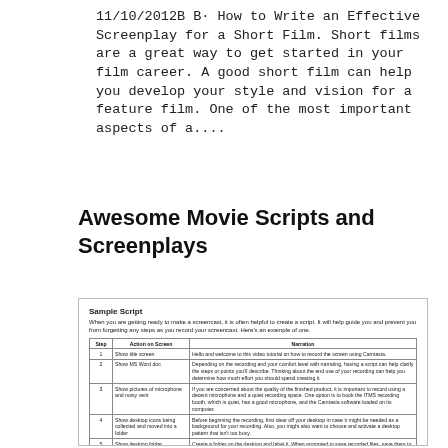11/10/2012B B· How to Write an Effective Screenplay for a Short Film. Short films are a great way to get started in your film career. A good short film can help you develop your style and vision for a feature film. One of the most important aspects of a....
Awesome Movie Scripts and Screenplays
[Figure (screenshot): Screenshot of a sample script guide for making a screencast, showing a table with Step, Action on Screen, and Narration columns describing steps 1-5 for recording a screen tutorial using Camtasia.]